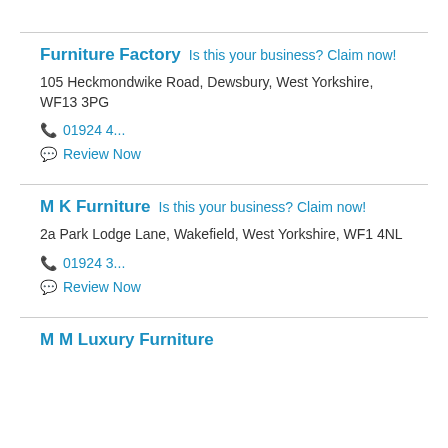Furniture Factory  Is this your business? Claim now!
105 Heckmondwike Road, Dewsbury, West Yorkshire, WF13 3PG
01924 4...
Review Now
M K Furniture  Is this your business? Claim now!
2a Park Lodge Lane, Wakefield, West Yorkshire, WF1 4NL
01924 3...
Review Now
M M Luxury Furniture